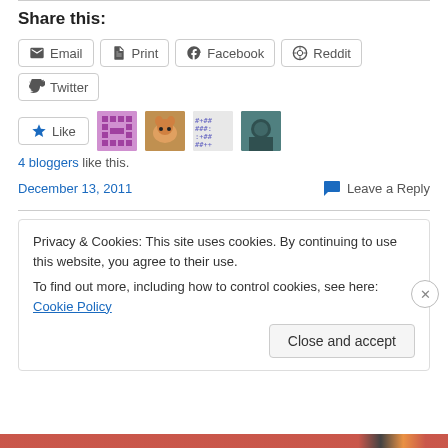Share this:
Email  Print  Facebook  Reddit  Twitter
[Figure (other): Like button with star icon and 4 blogger avatar thumbnails]
4 bloggers like this.
December 13, 2011    Leave a Reply
Privacy & Cookies: This site uses cookies. By continuing to use this website, you agree to their use.
To find out more, including how to control cookies, see here: Cookie Policy
Close and accept